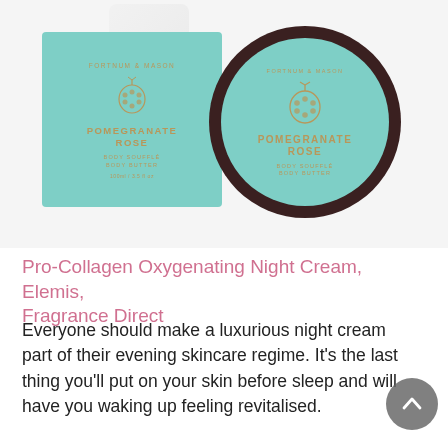[Figure (photo): Fortnum & Mason Pomegranate Rose Body Soufflé product photo showing a teal/mint colored box with gold lettering and a circular dark-lidded jar with teal label, displayed on white background.]
Pro-Collagen Oxygenating Night Cream, Elemis, Fragrance Direct
Everyone should make a luxurious night cream part of their evening skincare regime. It's the last thing you'll put on your skin before sleep and will have you waking up feeling revitalised.